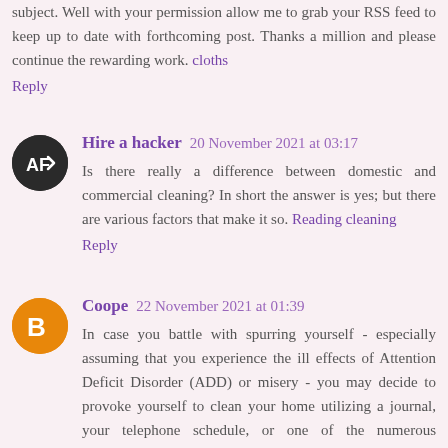subject. Well with your permission allow me to grab your RSS feed to keep up to date with forthcoming post. Thanks a million and please continue the rewarding work. cloths
Reply
Hire a hacker  20 November 2021 at 03:17
Is there really a difference between domestic and commercial cleaning? In short the answer is yes; but there are various factors that make it so. Reading cleaning
Reply
Coope  22 November 2021 at 01:39
In case you battle with spurring yourself - especially assuming that you experience the ill effects of Attention Deficit Disorder (ADD) or misery - you may decide to provoke yourself to clean your home utilizing a journal, your telephone schedule, or one of the numerous applications available. On the other hand, in case you have a dependable encouraging group of people, you could request that they poke you when you are thinking that it is hard to